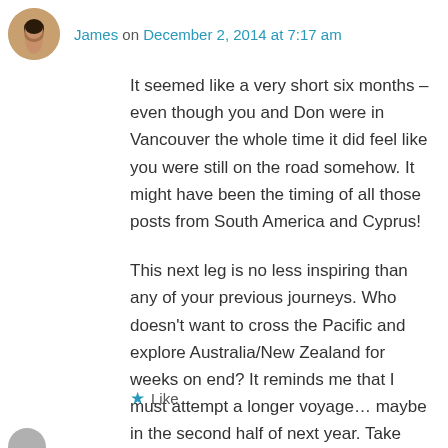James on December 2, 2014 at 7:17 am
It seemed like a very short six months – even though you and Don were in Vancouver the whole time it did feel like you were still on the road somehow. It might have been the timing of all those posts from South America and Cyprus!
This next leg is no less inspiring than any of your previous journeys. Who doesn't want to cross the Pacific and explore Australia/New Zealand for weeks on end? It reminds me that I must attempt a longer voyage... maybe in the second half of next year. Take care Alison, and have a safe trip!
★ Like